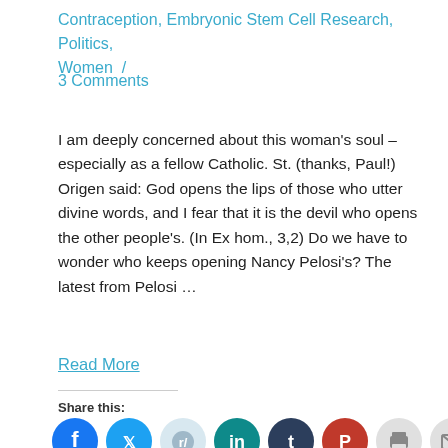Contraception, Embryonic Stem Cell Research, Politics, Women /
3 Comments
I am deeply concerned about this woman's soul – especially as a fellow Catholic. St. (thanks, Paul!) Origen said: God opens the lips of those who utter divine words, and I fear that it is the devil who opens the other people's. (In Ex hom., 3,2) Do we have to wonder who keeps opening Nancy Pelosi's? The latest from Pelosi …
Read More
Share this:
[Figure (infographic): Social sharing icons: Facebook (blue), Twitter (light blue), Reddit (light blue-grey), LinkedIn (teal), Tumblr (dark blue), Pinterest (red), Print (light grey), Email (light grey)]